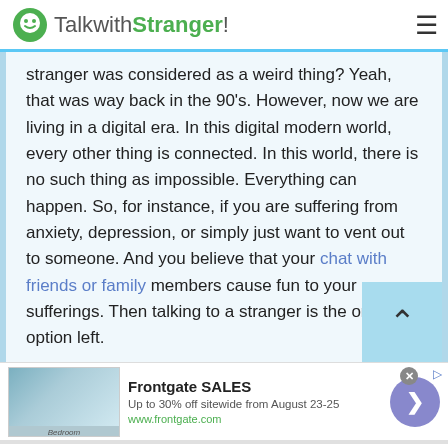TalkwithStranger!
stranger was considered as a weird thing? Yeah, that was way back in the 90's. However, now we are living in a digital era. In this digital modern world, every other thing is connected. In this world, there is no such thing as impossible. Everything can happen. So, for instance, if you are suffering from anxiety, depression, or simply just want to vent out to someone. And you believe that your chat with friends or family members cause fun to your sufferings. Then talking to a stranger is the only option left.
[Figure (screenshot): Advertisement banner for Frontgate SALES showing bedroom image, '30% off sitewide from August 23-25', www.frontgate.com, with close button and CTA arrow button]